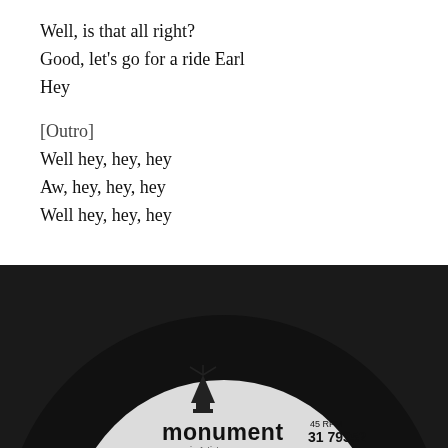Well, is that all right?
Good, let's go for a ride Earl
Hey
[Outro]
Well hey, hey, hey
Aw, hey, hey, hey
Well hey, hey, hey
GENIUS
[Figure (photo): A vinyl record label from Monument Records, showing '45 RPM', '31 79352', 'ZSS 79352A', '© 1999 Sony Music Entertainment Inc.' The label is white/grey and sits on a black vinyl record. Monument logo (lighthouse icon) is visible above the 'monument' wordmark with 'is Artistry' subtitle.]